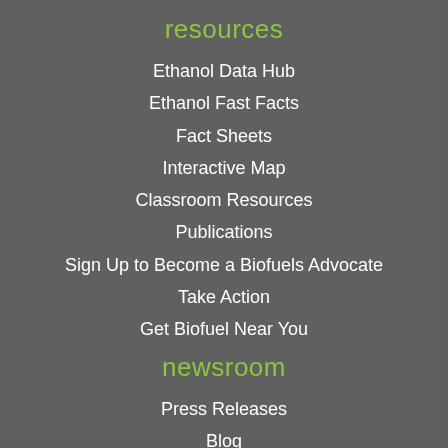resources
Ethanol Data Hub
Ethanol Fast Facts
Fact Sheets
Interactive Map
Classroom Resources
Publications
Sign Up to Become a Biofuels Advocate
Take Action
Get Biofuel Near You
newsroom
Press Releases
Blog
Social Media
Comments, Testimony & Letters